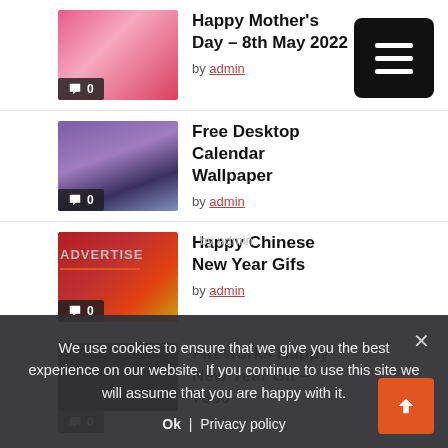Happy Mother's Day – 8th May 2022 by admin
Free Desktop Calendar Wallpaper by admin
Happy Chinese New Year Gifs by admin
Fireworks Happy New Year Gif – 7866 by admin
We use cookies to ensure that we give you the best experience on our website. If you continue to use this site we will assume that you are happy with it.
Ok   Privacy policy